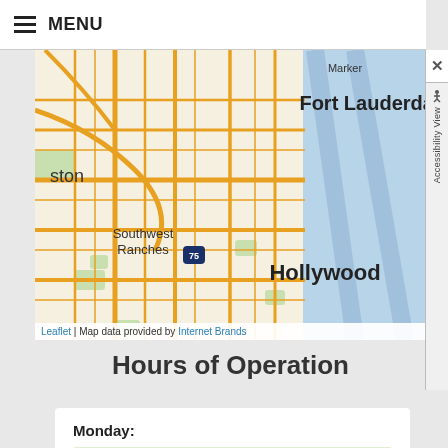MENU
[Figure (map): Street map showing Fort Lauderdale area including Southwest Ranches and Hollywood, Florida. Road network shown with orange routes. Blue water area to the east. Interstate 75 marked. Leaflet map with data from Internet Brands.]
Leaflet | Map data provided by Internet Brands
Hours of Operation
| Day | Hours |
| --- | --- |
| Monday: | 9:00 am-6:00 pm |
| Tuesday: | 9:00 am-6:00 pm |